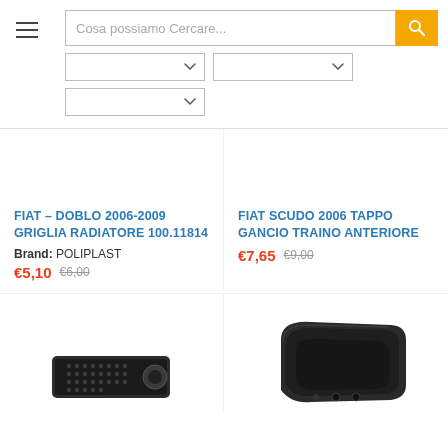[Figure (screenshot): Search bar with placeholder text 'Cosa possiamo Cercare...' and yellow search button, hamburger menu icon, and three dropdown selects]
FIAT – Doblo 2006-2009 GRIGLIA RADIATORE 100.11814
Brand: POLIPLAST
€5,10 €6,00
FIAT SCUDO 2006 TAPPO GANCIO TRAINO ANTERIORE
€7,65 €9,00
[Figure (photo): Auto part grille/vent cover in dark gray/black]
[Figure (photo): Auto part bumper/tow hook cover in dark gray]